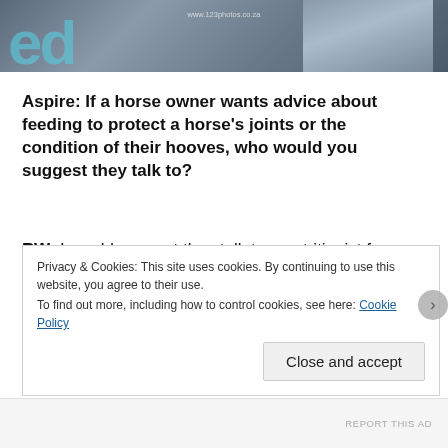[Figure (photo): Partial photo strip at the top of the page showing a person in blue/grey tones with large stylized letter visible on left side and a URL watermark in the center.]
Aspire: If a horse owner wants advice about feeding to protect a horse's joints or the condition of their hooves, who would you suggest they talk to?
RW: I would suggest they talk to a nutritionist from one of the feed companies. [If you are] feeding [your horse] a quality feed you shouldn't have any hoof issues. So, are there other things
Privacy & Cookies: This site uses cookies. By continuing to use this website, you agree to their use.
To find out more, including how to control cookies, see here: Cookie Policy
Close and accept
REPORT THIS AD